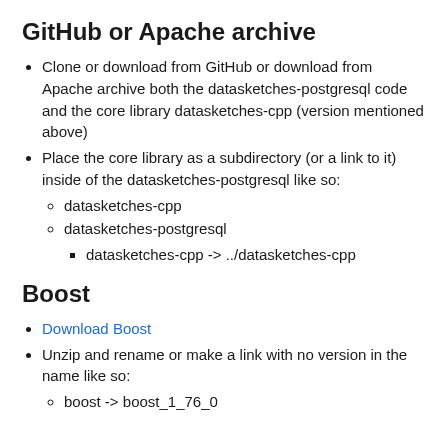GitHub or Apache archive
Clone or download from GitHub or download from Apache archive both the datasketches-postgresql code and the core library datasketches-cpp (version mentioned above)
Place the core library as a subdirectory (or a link to it) inside of the datasketches-postgresql like so:
datasketches-cpp
datasketches-postgresql
datasketches-cpp -> ../datasketches-cpp
Boost
Download Boost
Unzip and rename or make a link with no version in the name like so:
boost -> boost_1_76_0